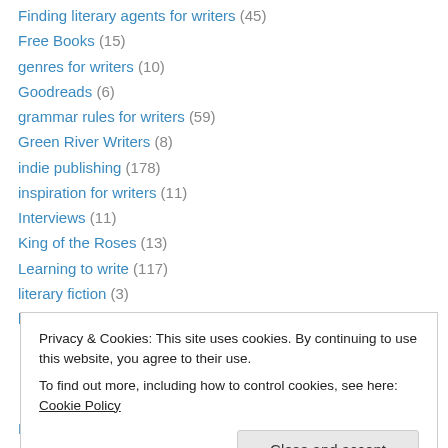Finding literary agents for writers (45)
Free Books (15)
genres for writers (10)
Goodreads (6)
grammar rules for writers (59)
Green River Writers (8)
indie publishing (178)
inspiration for writers (11)
Interviews (11)
King of the Roses (13)
Learning to write (117)
literary fiction (3)
looking for literary editors and publishers (36)
Privacy & Cookies: This site uses cookies. By continuing to use this website, you agree to their use. To find out more, including how to control cookies, see here: Cookie Policy
Publishing (97)